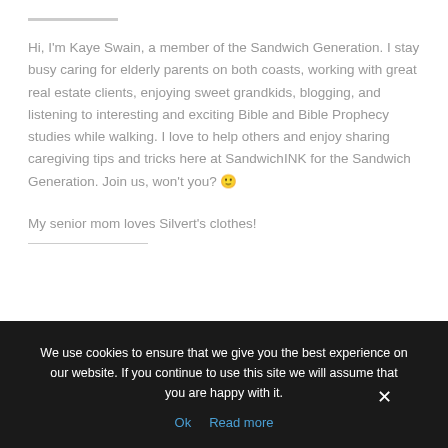Hi, I'm Kaye Swain, a member of the Sandwich Generation. I stay busy caring for elderly parents on both coasts, working with great real estate clients, enjoying sweet grandkids, blogging, and listening to interesting and exciting Bible and Bible Prophecy studies while walking. I love to help others and enjoy sharing caregiving tips and tricks here at SandwichINK for the Sandwich Generation. Join us, won't you? 🙂
My senior mom loves Silvert's clothes!
We use cookies to ensure that we give you the best experience on our website. If you continue to use this site we will assume that you are happy with it.